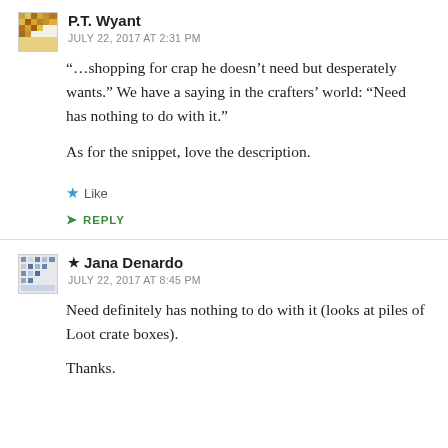P.T. Wyant
JULY 22, 2017 AT 2:31 PM
“…shopping for crap he doesn’t need but desperately wants.” We have a saying in the crafters’ world: “Need has nothing to do with it.”
As for the snippet, love the description.
Like
REPLY
Jana Denardo
JULY 22, 2017 AT 8:45 PM
Need definitely has nothing to do with it (looks at piles of Loot crate boxes).
Thanks.